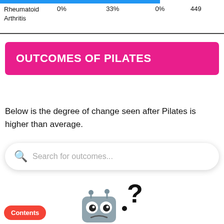|  |  | 33% | 0% | 44% |
| --- | --- | --- | --- | --- |
| Rheumatoid Arthritis | 0% | 33% | 0% | 449 |
OUTCOMES OF PILATES
Below is the degree of change seen after Pilates is higher than average.
[Figure (screenshot): Search bar with placeholder text 'Search for outcomes...' and a magnifying glass icon]
[Figure (illustration): Cartoon robot with question mark illustration]